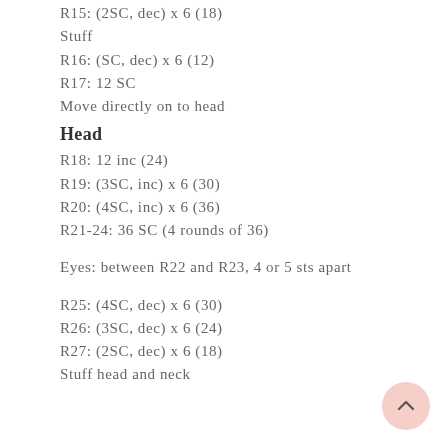R15: (2SC, dec) x 6 (18)
Stuff
R16: (SC, dec) x 6 (12)
R17: 12 SC
Move directly on to head
Head
R18: 12 inc (24)
R19: (3SC, inc) x 6 (30)
R20: (4SC, inc) x 6 (36)
R21-24: 36 SC (4 rounds of 36)
Eyes: between R22 and R23, 4 or 5 sts apart
R25: (4SC, dec) x 6 (30)
R26: (3SC, dec) x 6 (24)
R27: (2SC, dec) x 6 (18)
Stuff head and neck